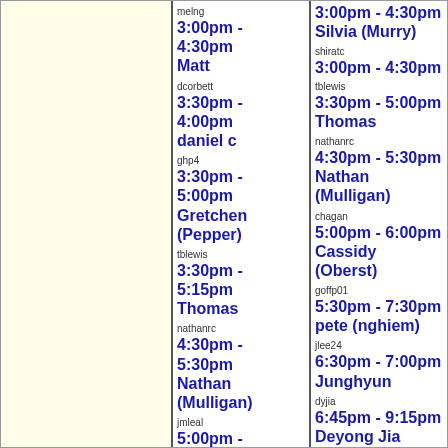melng
3:00pm - 4:30pm
Matt
dcorbett
3:30pm - 4:00pm
daniel c
ghp4
3:30pm - 5:00pm
Gretchen (Pepper)
tblewis
3:30pm - 5:15pm
Thomas
nathanrc
4:30pm - 5:30pm
Nathan (Mulligan)
jmleal
5:00pm - 5:30pm
shiratc
3:00pm - 4:30pm
tblewis
3:30pm - 5:00pm
Thomas
nathanrc
4:30pm - 5:30pm
Nathan (Mulligan)
chagan
5:00pm - 6:00pm
Cassidy (Oberst)
goffp01
5:30pm - 7:30pm
pete (nghiem)
jlee24
6:30pm - 7:00pm
Junghyun
dyjia
6:45pm - 9:15pm
Deyong Jia